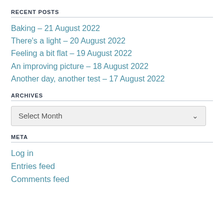RECENT POSTS
Baking – 21 August 2022
There's a light – 20 August 2022
Feeling a bit flat – 19 August 2022
An improving picture – 18 August 2022
Another day, another test – 17 August 2022
ARCHIVES
Select Month
META
Log in
Entries feed
Comments feed